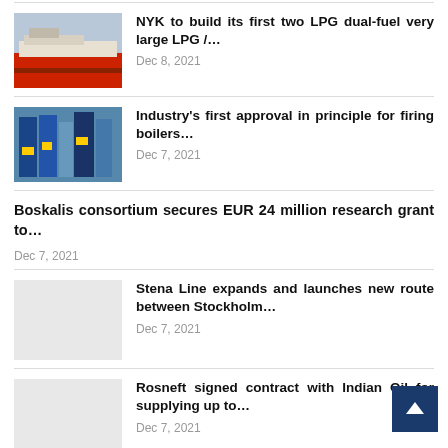[Figure (photo): Ship illustration – LPG tanker (red hull)]
NYK to build its first two LPG dual-fuel very large LPG /…
Dec 8, 2021
[Figure (photo): Industrial facility – blue machinery/boilers]
Industry's first approval in principle for firing boilers…
Dec 7, 2021
Boskalis consortium secures EUR 24 million research grant to…
Dec 7, 2021
[Figure (photo): Placeholder image – light grey]
Stena Line expands and launches new route between Stockholm…
Dec 7, 2021
[Figure (photo): Placeholder image – light grey]
Rosneft signed contract with Indian Oil for supplying up to…
Dec 7, 2021
[Figure (photo): Partial thumbnail – dark blue at bottom]
Wärtsilä partners with Microsoft to…